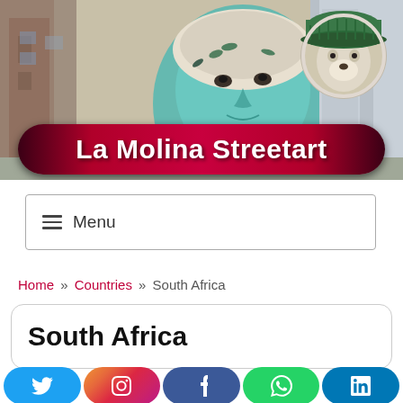[Figure (photo): Website header banner showing a large street art mural of a woman's face in teal/green tones painted on a building wall, with European-style buildings on either side. A circular avatar of a dog wearing a green knitted hat is overlaid in the top-right corner.]
La Molina Streetart
≡  Menu
Home » Countries » South Africa
South Africa
[Figure (infographic): Social media sharing buttons: Twitter (blue), Instagram (gradient), Facebook (dark blue), WhatsApp (green), LinkedIn (teal blue)]